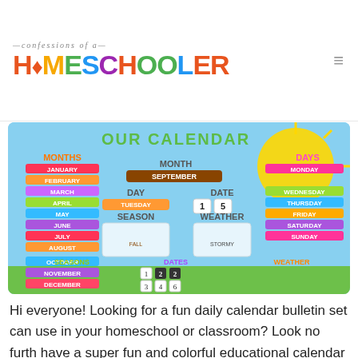confessions of a HOMESCHOOLER
[Figure (screenshot): A colorful educational calendar bulletin board set showing months, days of the week, seasons, dates, weather icons, and the current date set to September 15 (Tuesday, Fall, Stormy).]
Hi everyone! Looking for a fun daily calendar bulletin set can use in your homeschool or classroom? Look no furth have a super fun and colorful educational calendar set for you.